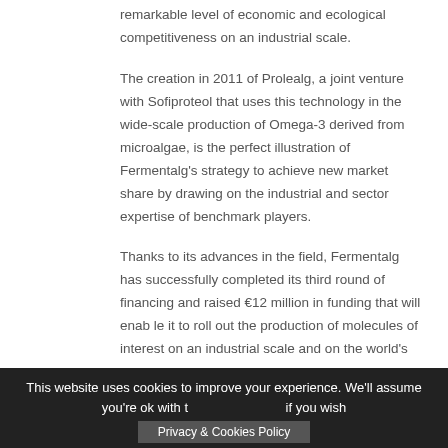remarkable level of economic and ecological competitiveness on an industrial scale.
The creation in 2011 of Prolealg, a joint venture with Sofiproteol that uses this technology in the wide-scale production of Omega-3 derived from microalgae, is the perfect illustration of Fermentalg's strategy to achieve new market share by drawing on the industrial and sector expertise of benchmark players.
Thanks to its advances in the field, Fermentalg has successfully completed its third round of financing and raised €12 million in funding that will enab le it to roll out the production of molecules of interest on an industrial scale and on the world's
This website uses cookies to improve your experience. We'll assume you're ok with t... if you wish